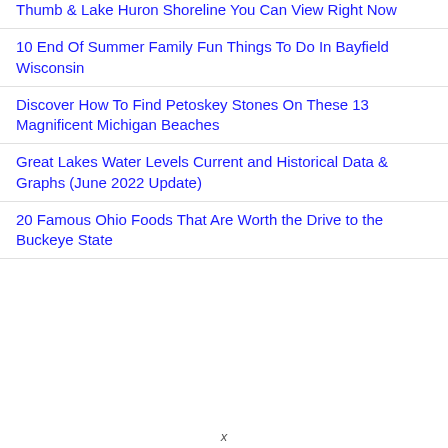Thumb & Lake Huron Shoreline You Can View Right Now
10 End Of Summer Family Fun Things To Do In Bayfield Wisconsin
Discover How To Find Petoskey Stones On These 13 Magnificent Michigan Beaches
Great Lakes Water Levels Current and Historical Data & Graphs (June 2022 Update)
20 Famous Ohio Foods That Are Worth the Drive to the Buckeye State
x